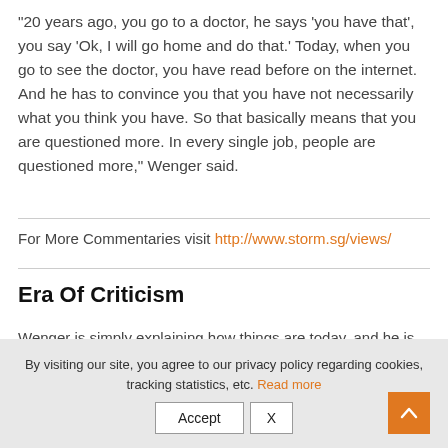“20 years ago, you go to a doctor, he says ‘you have that’, you say ‘Ok, I will go home and do that.’ Today, when you go to see the doctor, you have read before on the internet. And he has to convince you that you have not necessarily what you think you have. So that basically means that you are questioned more. In every single job, people are questioned more,” Wenger said.
For More Commentaries visit http://www.storm.sg/views/
Era Of Criticism
Wenger is simply explaining how things are today, and he is not
By visiting our site, you agree to our privacy policy regarding cookies, tracking statistics, etc. Read more